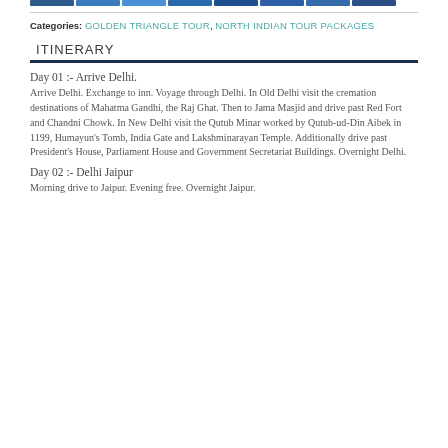Categories: GOLDEN TRIANGLE TOUR, NORTH INDIAN TOUR PACKAGES
ITINERARY
Day 01 :- Arrive Delhi.
Arrive Delhi. Exchange to inn. Voyage through Delhi. In Old Delhi visit the cremation destinations of Mahatma Gandhi, the Raj Ghat. Then to Jama Masjid and drive past Red Fort and Chandni Chowk. In New Delhi visit the Qutub Minar worked by Qutub-ud-Din Aibek in 1199, Humayun's Tomb, India Gate and Lakshminarayan Temple. Additionally drive past President's House, Parliament House and Government Secretariat Buildings. Overnight Delhi.
Day 02 :- Delhi Jaipur
Morning drive to Jaipur. Evening free. Overnight Jaipur.